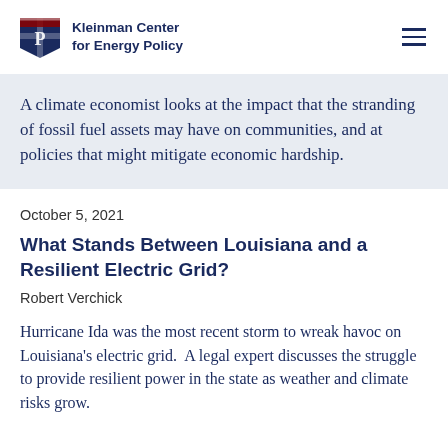Kleinman Center for Energy Policy
A climate economist looks at the impact that the stranding of fossil fuel assets may have on communities, and at policies that might mitigate economic hardship.
October 5, 2021
What Stands Between Louisiana and a Resilient Electric Grid?
Robert Verchick
Hurricane Ida was the most recent storm to wreak havoc on Louisiana's electric grid.  A legal expert discusses the struggle to provide resilient power in the state as weather and climate risks grow.